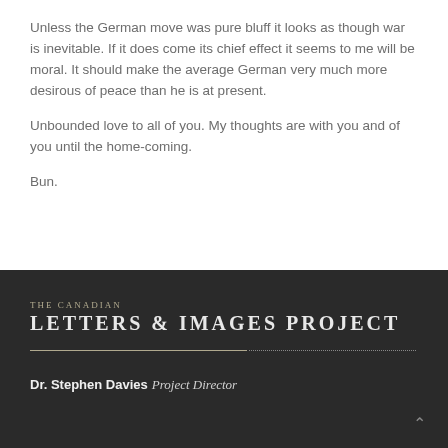Unless the German move was pure bluff it looks as though war is inevitable. If it does come its chief effect it seems to me will be moral. It should make the average German very much more desirous of peace than he is at present.
Unbounded love to all of you. My thoughts are with you and of you until the home-coming.
Bun.
THE CANADIAN LETTERS & IMAGES PROJECT | Dr. Stephen Davies Project Director